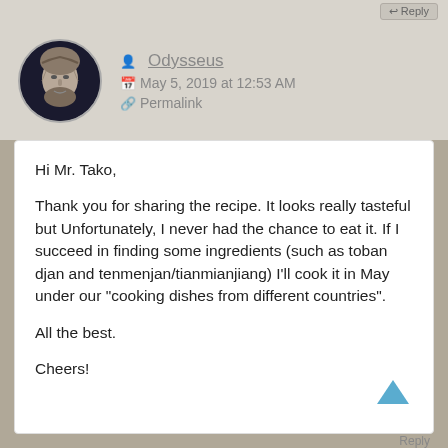Reply
Odysseus
May 5, 2019 at 12:53 AM
Permalink
Hi Mr. Tako,

Thank you for sharing the recipe. It looks really tasteful but Unfortunately, I never had the chance to eat it. If I succeed in finding some ingredients (such as toban djan and tenmenjan/tianmianjiang) I'll cook it in May under our “cooking dishes from different countries”.

All the best.

Cheers!